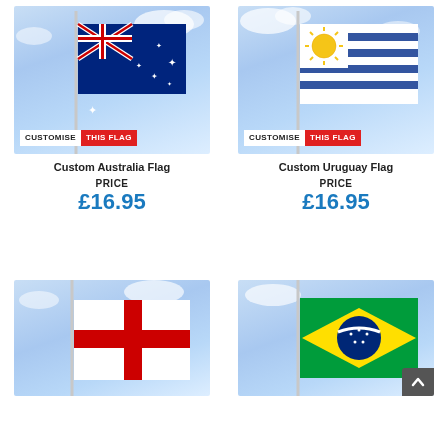[Figure (photo): Custom Australia Flag product image with 'CUSTOMISE THIS FLAG' badge]
Custom Australia Flag
PRICE
£16.95
[Figure (photo): Custom Uruguay Flag product image with 'CUSTOMISE THIS FLAG' badge]
Custom Uruguay Flag
PRICE
£16.95
[Figure (photo): Custom England Flag product image (partial, bottom of page)]
[Figure (photo): Custom Brazil Flag product image (partial, bottom of page)]